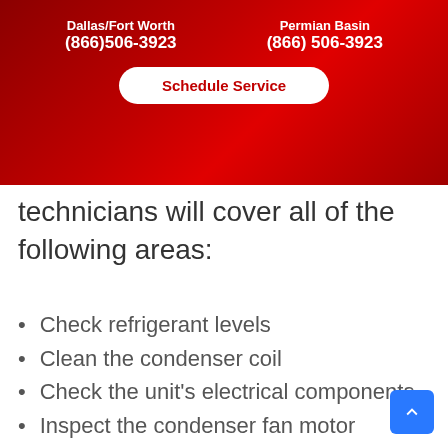Dallas/Fort Worth (866)506-3923 | Permian Basin (866) 506-3923 | Schedule Service
technicians will cover all of the following areas:
Check refrigerant levels
Clean the condenser coil
Check the unit's electrical components
Inspect the condenser fan motor
Change air filters
Flush the condensate drain